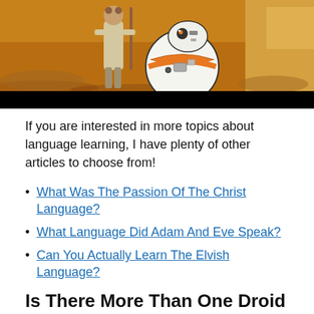[Figure (illustration): Illustrated/stylized image of BB-8 droid and a figure on a desert planet background, with a black bar at the bottom of the image.]
If you are interested in more topics about language learning, I have plenty of other articles to choose from!
What Was The Passion Of The Christ Language?
What Language Did Adam And Eve Speak?
Can You Actually Learn The Elvish Language?
Is There More Than One Droid Language In Star Wars?